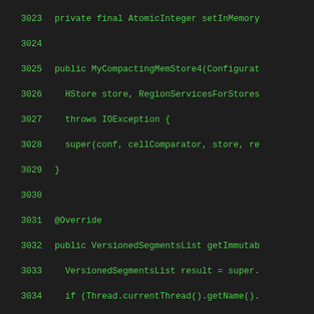[Figure (screenshot): Source code viewer showing Java code lines 3023-3051 with line numbers on the left in green monospace font on dark background. Code includes a private field, constructor, and two overridden methods: getImmutableSegmentsList and swapPipelineWithNull.]